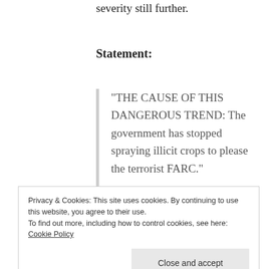severity still further.
Statement:
“THE CAUSE OF THIS DANGEROUS TREND: The government has stopped spraying illicit crops to please the terrorist FARC.”
Inaccurate. First, the October 2015 suspension of “spraying illicit crops” with herbicides from aircraft is one of
Privacy & Cookies: This site uses cookies. By continuing to use this website, you agree to their use.
To find out more, including how to control cookies, see here: Cookie Policy
failure to replace eradication with